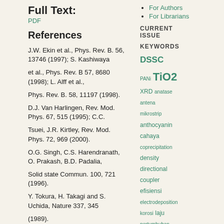Full Text:
PDF
References
For Authors
For Librarians
CURRENT ISSUE
KEYWORDS
J.W. Ekin et al., Phys. Rev. B. 56, 13746 (1997); S. Kashiwaya
et al., Phys. Rev. B 57, 8680 (1998); L. Alff et al.,
Phys. Rev. B. 58, 11197 (1998).
D.J. Van Harlingen, Rev. Mod. Phys. 67, 515 (1995); C.C.
Tsuei, J.R. Kirtley, Rev. Mod. Phys. 72, 969 (2000).
O.G. Singh, C.S. Harendranath, O. Prakash, B.D. Padalia,
Solid state Commun. 100, 721 (1996).
Y. Tokura, H. Takagi and S. Uchida, Nature 337, 345
(1989).
A.J. Schultz, J.D.Jorgensen, J.L. Peng, R.L. Greene, Phys.
Rev. B 53, 5157 (1996).
Y. Hidaka and M. Suzuki, Nature 338, 635